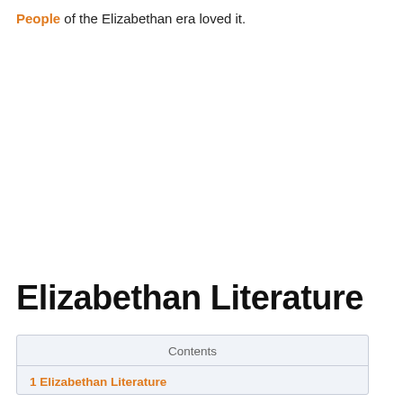People of the Elizabethan era loved it.
Elizabethan Literature
Contents
1 Elizabethan Literature